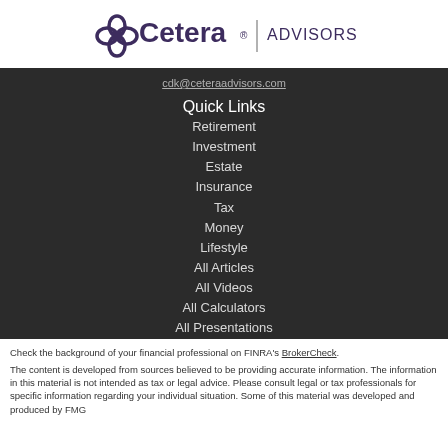[Figure (logo): Cetera Advisors logo with purple clover icon and text 'Cetera ADVISORS']
cdk@ceteraadvisors.com
Quick Links
Retirement
Investment
Estate
Insurance
Tax
Money
Lifestyle
All Articles
All Videos
All Calculators
All Presentations
Check the background of your financial professional on FINRA's BrokerCheck.
The content is developed from sources believed to be providing accurate information. The information in this material is not intended as tax or legal advice. Please consult legal or tax professionals for specific information regarding your individual situation. Some of this material was developed and produced by FMG